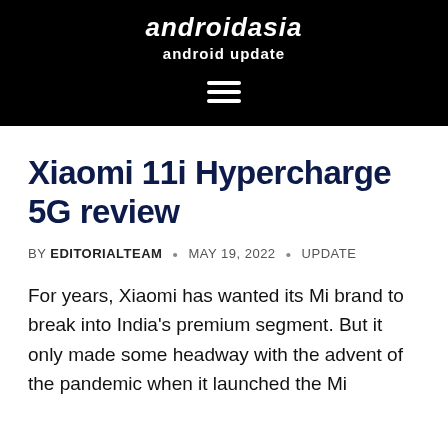androidasia
android update
Xiaomi 11i Hypercharge 5G review
BY EDITORIALTEAM • MAY 19, 2022 • UPDATE
For years, Xiaomi has wanted its Mi brand to break into India's premium segment. But it only made some headway with the advent of the pandemic when it launched the Mi